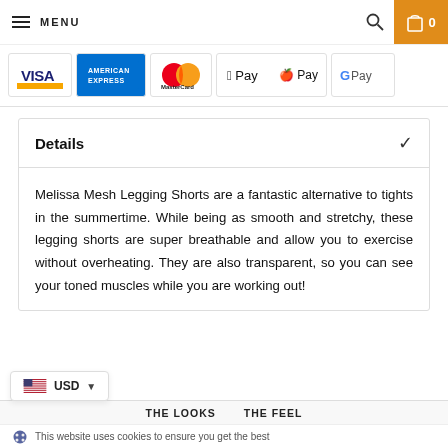MENU | Search | Cart 0
[Figure (logo): Payment method logos: VISA, American Express, MasterCard, Apple Pay, Google Pay]
Details
Melissa Mesh Legging Shorts are a fantastic alternative to tights in the summertime. While being as smooth and stretchy, these legging shorts are super breathable and allow you to exercise without overheating. They are also transparent, so you can see your toned muscles while you are working out!
USD | THE LOOKS | THE FEEL
This website uses cookies to ensure you get the best